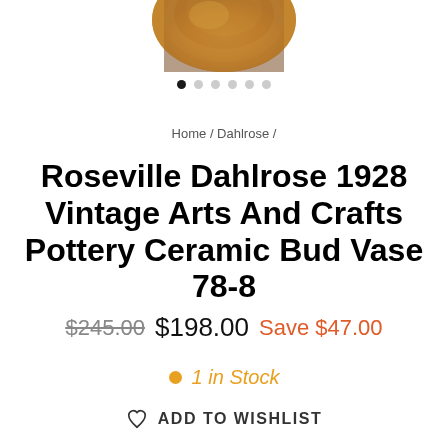[Figure (photo): Partial view of a Roseville Dahlrose pottery ceramic bud vase, cropped at the top of the page]
[Figure (other): Carousel dot indicators: 6 dots, first one filled black, rest gray]
Home / Dahlrose /
Roseville Dahlrose 1928 Vintage Arts And Crafts Pottery Ceramic Bud Vase 78-8
$245.00  $198.00  Save $47.00
1 in Stock
ADD TO WISHLIST